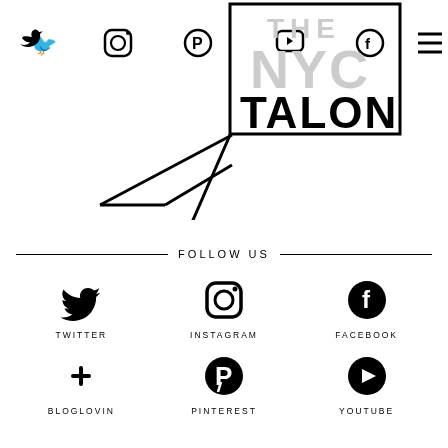[Figure (logo): The NYC Talon logo with geometric angular lines forming a stylized design, plus social media navigation icons (Twitter, Instagram, Pinterest, YouTube, Facebook, blog, search) at top]
FOLLOW US
TWITTER
INSTAGRAM
FACEBOOK
BLOGLOVIN
PINTEREST
YOUTUBE